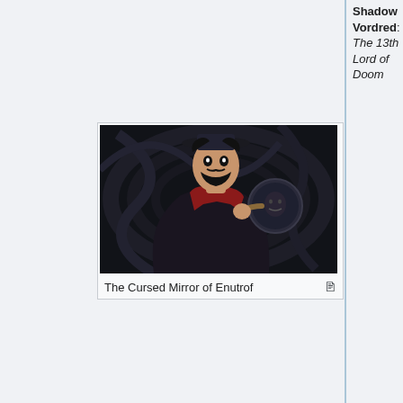Shadow Vordred: The 13th Lord of Doom
[Figure (illustration): Animated character illustration of a dark-dressed figure with a beard and hat, holding a dark circular mirror with a face reflected in it, set against a dark swirling background. Caption: The Cursed Mirror of Enutrof]
The Cursed Mirror of Enutrof
The Cursed Mirror of Enutrof
Of all the relics in the mortal world, none but the